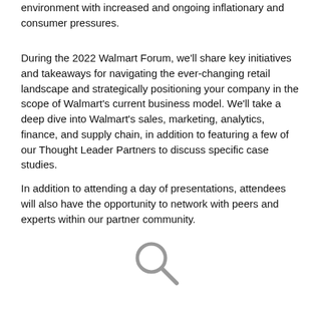environment with increased and ongoing inflationary and consumer pressures.
During the 2022 Walmart Forum, we'll share key initiatives and takeaways for navigating the ever-changing retail landscape and strategically positioning your company in the scope of Walmart's current business model. We'll take a deep dive into Walmart's sales, marketing, analytics, finance, and supply chain, in addition to featuring a few of our Thought Leader Partners to discuss specific case studies.
In addition to attending a day of presentations, attendees will also have the opportunity to network with peers and experts within our partner community.
[Figure (illustration): A magnifying glass icon (search icon) in gray]